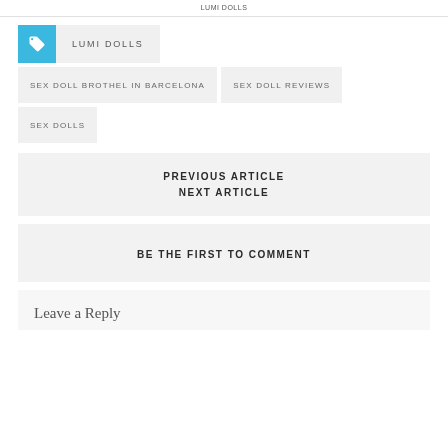LUMI DOLLS
LUMI DOLLS
SEX DOLL BROTHEL IN BARCELONA
SEX DOLL REVIEWS
SEX DOLLS
PREVIOUS ARTICLE
NEXT ARTICLE
BE THE FIRST TO COMMENT
Leave a Reply